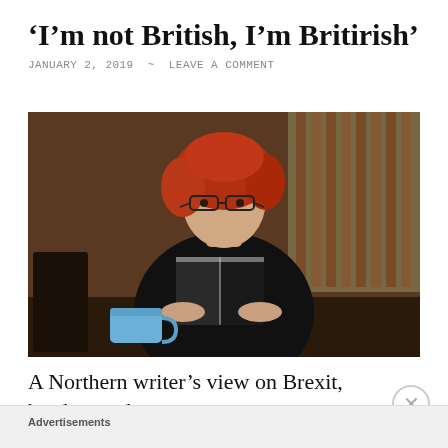‘I’m not British, I’m Britirish’
JANUARY 2, 2019 ~ LEAVE A COMMENT
[Figure (photo): A woman with red curly hair and glasses, wearing a black jacket, holding an open book. A blue coffee cup is on the table in front of her. She is sitting in what appears to be a cafe or restaurant with wooden slatted decor in the background.]
A Northern writer’s view on Brexit, borders and
Advertisements